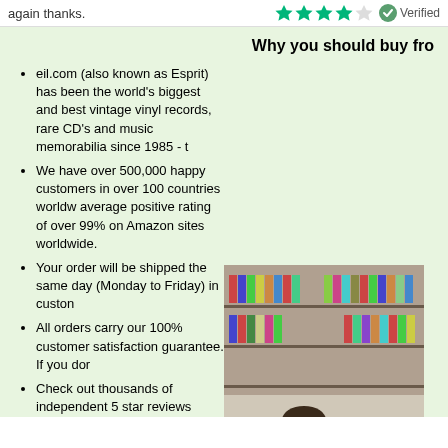again thanks.
Why you should buy fro
eil.com (also known as Esprit) has been the world's biggest and best vintage vinyl records, rare CD's and music memorabilia since 1985 - t
We have over 500,000 happy customers in over 100 countries worldw average positive rating of over 99% on Amazon sites worldwide.
Your order will be shipped the same day (Monday to Friday) in custon
All orders carry our 100% customer satisfaction guarantee. If you dor
Check out thousands of independent 5 star reviews about us [TRUSTPILOT]
We're always on the phone to answer questions and help with any or
We reply to emails in minutes and hours, not days.
It is 100% safe and secure to order from us as we have been indeper transmitted using 128 bit encryption with 'Extended Validation SSL' a using the strictest authentication standard. See the padlock symbol sl
[Figure (photo): Photo of a person (man with glasses) working in a record shop surrounded by vinyl records on shelves]